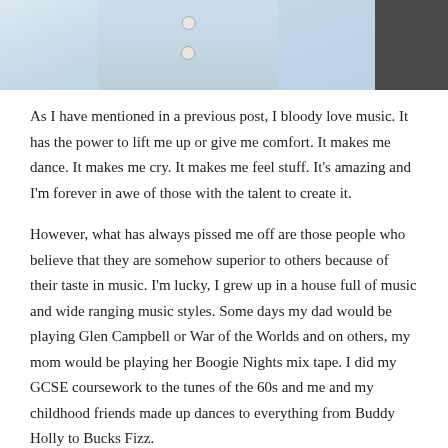[Figure (photo): Top portion of a photo showing a person wearing a light blue denim jacket, with a dark background on the right side.]
As I have mentioned in a previous post, I bloody love music. It has the power to lift me up or give me comfort. It makes me dance. It makes me cry. It makes me feel stuff. It's amazing and I'm forever in awe of those with the talent to create it.
However, what has always pissed me off are those people who believe that they are somehow superior to others because of their taste in music. I'm lucky, I grew up in a house full of music and wide ranging music styles. Some days my dad would be playing Glen Campbell or War of the Worlds and on others, my mom would be playing her Boogie Nights mix tape. I did my GCSE coursework to the tunes of the 60s and me and my childhood friends made up dances to everything from Buddy Holly to Bucks Fizz.
By university I'd learnt that it wasn't cool to admit to liking pretty much anything but 90s indie, preferably from Manchester, and for